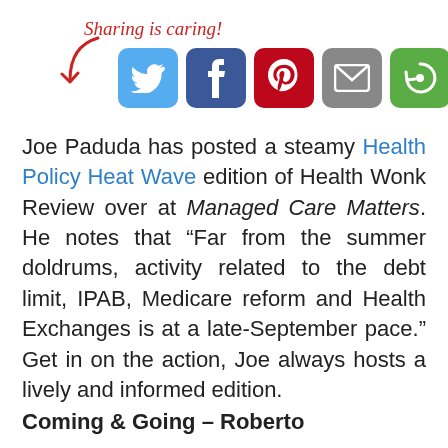[Figure (infographic): Sharing is caring! social sharing buttons for Twitter, Facebook, Pinterest, Email, and a share/refresh icon, with a red cursive label and arrow pointing to the icons.]
Joe Paduda has posted a steamy Health Policy Heat Wave edition of Health Wonk Review over at Managed Care Matters. He notes that "Far from the summer doldrums, activity related to the debt limit, IPAB, Medicare reform and Health Exchanges is at a late-September pace." Get in on the action, Joe always hosts a lively and informed edition.
Coming & Going – Roberto